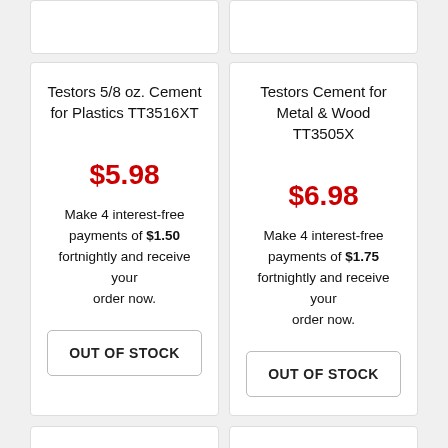Testors 5/8 oz. Cement for Plastics TT3516XT
$5.98
Make 4 interest-free payments of $1.50 fortnightly and receive your order now.
OUT OF STOCK
Testors Cement for Metal & Wood TT3505X
$6.98
Make 4 interest-free payments of $1.75 fortnightly and receive your order now.
OUT OF STOCK